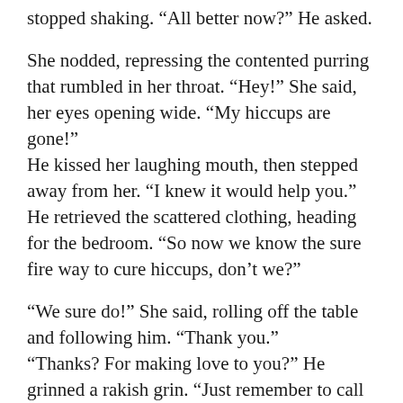stopped shaking. “All better now?” He asked.
She nodded, repressing the contented purring that rumbled in her throat. “Hey!” She said, her eyes opening wide. “My hiccups are gone!” He kissed her laughing mouth, then stepped away from her. “I knew it would help you.” He retrieved the scattered clothing, heading for the bedroom. “So now we know the sure fire way to cure hiccups, don’t we?”
“We sure do!” She said, rolling off the table and following him. “Thank you.” “Thanks? For making love to you?” He grinned a rakish grin. “Just remember to call me anytime you get a case of hiccups.” Dropping the clothes into the hamper, he nodded towards the bathroom. “Care to join me in a quick shower?” [hic]
She burst into laughter, watching the shock on his face as the hiccups rattled him with…